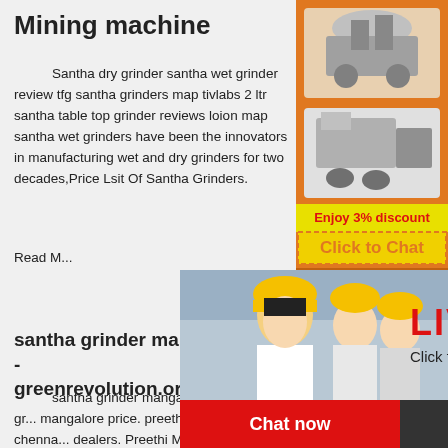Mining machine
Santha dry grinder santha wet grinder review tfg santha grinders map tivlabs 2 ltr santha table top grinder reviews loion map santha wet grinders have been the innovators in manufacturing wet and dry grinders for two decades,Price Lsit Of Santha Grinders.
Read M...
[Figure (photo): Live chat popup overlay showing workers in yellow helmets with 'LIVE CHAT - Click for a Free Consultation' text, and Chat now / Chat later buttons]
santha grinder mangalore price - greenrevolution.org
santha grinder mangalore price. santha grinder mangalore price. preethi mixie price in chennai dealers. Preethi Mixer Grinder Juicers Price in India 2014 2nd ... preethi, preethi mixie, santha dry, wet
[Figure (infographic): Right sidebar advertisement: orange background with mining machine images, '3% discount', 'Click to Chat', 'Enquiry', and 'limingjlmofen@sina.com' contact info]